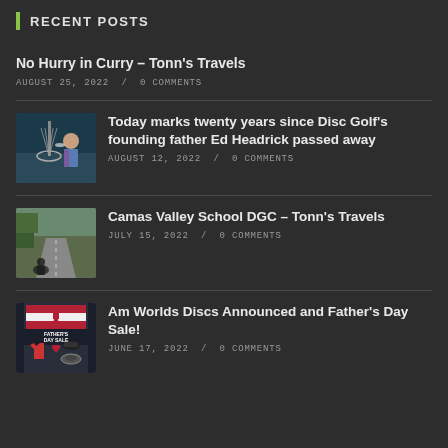RECENT POSTS
No Hurry in Curry – Tonn's Travels
AUGUST 25, 2022 / 0 COMMENTS
Today marks twenty years since Disc Golf's founding father Ed Headrick passed away
AUGUST 12, 2022 / 0 COMMENTS
Camas Valley School DGC – Tonn's Travels
JULY 15, 2022 / 0 COMMENTS
Am Worlds Discs Announced and Father's Day Sale!
JUNE 17, 2022 / 0 COMMENTS